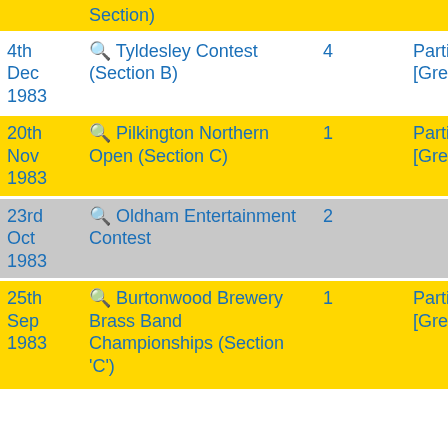| Date | Contest | Pos |  | Piece |  |
| --- | --- | --- | --- | --- | --- |
|  | Section) |  |  |  |  |
| 4th Dec 1983 | 🔍 Tyldesley Contest (Section B) | 4 |  | Partita [Gregson] | 7 |
| 20th Nov 1983 | 🔍 Pilkington Northern Open (Section C) | 1 |  | Partita [Gregson] |  |
| 23rd Oct 1983 | 🔍 Oldham Entertainment Contest | 2 |  |  |  |
| 25th Sep 1983 | 🔍 Burtonwood Brewery Brass Band Championships (Section 'C') | 1 |  | Partita [Gregson] | 5 |